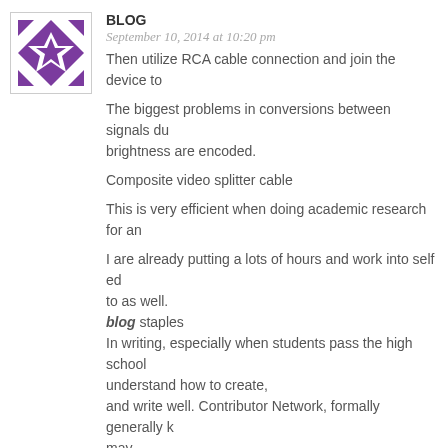[Figure (illustration): Purple geometric quilt-pattern avatar icon with white border]
BLOG
September 10, 2014 at 10:20 pm
Then utilize RCA cable connection and join the device to...
The biggest problems in conversions between signals du... brightness are encoded.
Composite video splitter cable
This is very efficient when doing academic research for an...
I are already putting a lots of hours and work into self ed... to as well.
blog staples
In writing, especially when students pass the high school... understand how to create, and write well. Contributor Network, formally generally k... may be the top writing site in my personal.
[Figure (illustration): Teal/cyan geometric quilt-pattern avatar icon with white border]
FAMILY VIOLENCE LAWYERS
September 11, 2014 at 2:36 pm
Fantastic website. Lots of useful information here. I'm se... additionally sharing in delicious. And obviously, thank you for your sweat!